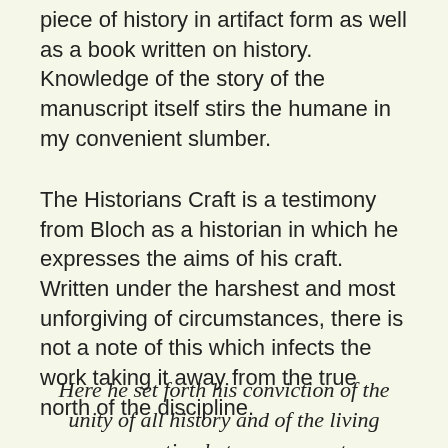piece of history in artifact form as well as a book written on history. Knowledge of the story of the manuscript itself stirs the humane in my convenient slumber.
The Historians Craft is a testimony from Bloch as a historian in which he expresses the aims of his craft. Written under the harshest and most unforgiving of circumstances, there is not a note of this which infects the work taking it away from the true north of the discipline.
Here he set forth his conviction of the unity of all history and of the living connection between present